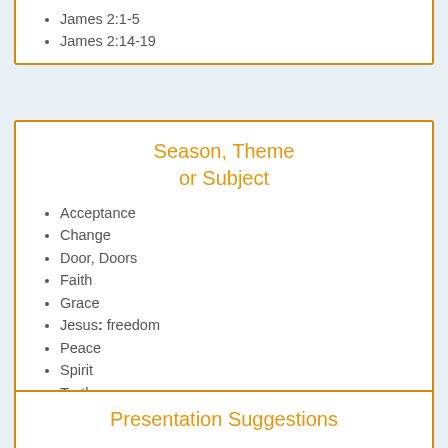James 2:1-5
James 2:14-19
Season, Theme or Subject
Acceptance
Change
Door, Doors
Faith
Grace
Jesus: freedom
Peace
Spirit
Truth
Presentation Suggestions